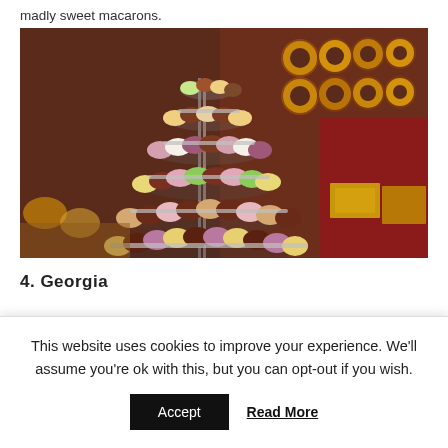madly sweet macarons.
[Figure (photo): A tiered tower display of colorful macarons in a confectionery shop, with donuts and chocolate boxes visible in the background.]
4. Georgia
This website uses cookies to improve your experience. We'll assume you're ok with this, but you can opt-out if you wish.
Accept   Read More